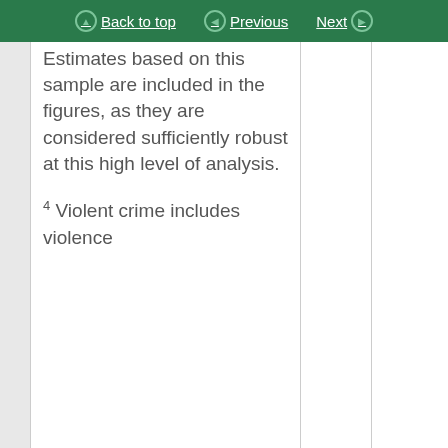Back to top  Previous  Next
Estimates based on this sample are included in the figures, as they are considered sufficiently robust at this high level of analysis.
4 Violent crime includes violence